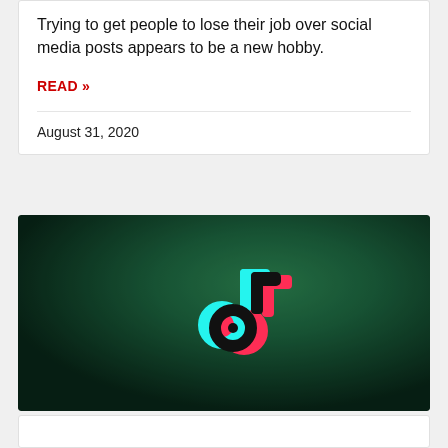Trying to get people to lose their job over social media posts appears to be a new hobby.
READ »
August 31, 2020
[Figure (photo): TikTok logo on a dark green textured background]